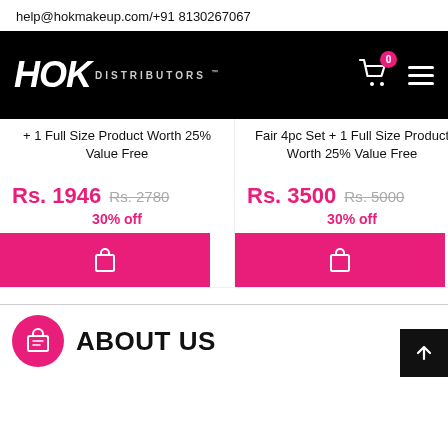help@hokmakeup.com/+91 8130267067
[Figure (logo): HOK DISTRIBUTORS logo in white on black navigation bar with shopping cart icon showing 0 badge and hamburger menu]
+ 1 Full Size Product Worth 25% Value Free
Fair 4pc Set + 1 Full Size Product Worth 25% Value Free
Full S
Rs. 1946  Rs. 2780  30% off
Rs. 3500  Rs. 5000  30% off
Rs.
ABOUT US